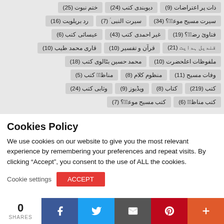ذات پر اعتراضات (9)
دیوبندی کتب (24)
ختم نبوت (25)
سیرت مسیح موعود؟؟ (34)
سیرت النبی ؟ (7)
رد بریلویت (16)
فتاوئ رضو؟؟ (19)
غیر احمدی کتب (43)
عیسائی کتب (6)
قندیل ہدایت (21)
قرآن و تفسیر (10)
قاری محمد طیب (10)
ملفوظات اعلحضرت (10)
محمد حسین بٹالوی کتب (18)
وفات مسیح (11)
منظوم کلام (8)
مناظر؟ کتب (5)
کتب (219)
کتاب (8)
ویڈیوز (9)
وثابی کتب (24)
کتب مناظر؟ (6)
کتب مسیح موعو؟؟ (7)
Cookies Policy
We use cookies on our website to give you the most relevant experience by remembering your preferences and repeat visits. By clicking “Accept”, you consent to the use of ALL the cookies.
0 SHARES
Facebook, Twitter, Email, Pinterest, More share buttons